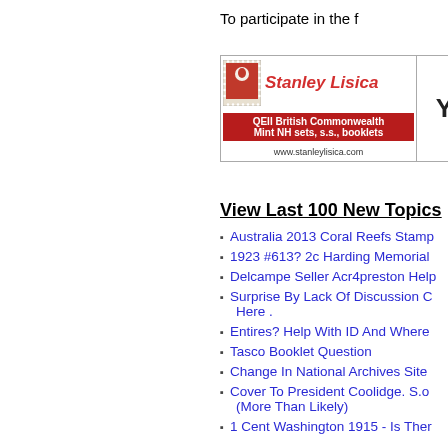To participate in the f
[Figure (logo): Stanley Lisica advertisement banner showing QEII British Commonwealth Mint NH sets, s.s., booklets with website www.stanleylisica.com]
Your A
View Last 100 New Topics
Australia 2013 Coral Reefs Stamp
1923 #613? 2c Harding Memorial
Delcampe Seller Acr4preston Help
Surprise By Lack Of Discussion C... Here .
Entires? Help With ID And Where
Tasco Booklet Question
Change In National Archives Site
Cover To President Coolidge. S.o... (More Than Likely)
1 Cent Washington 1915 - Is Ther